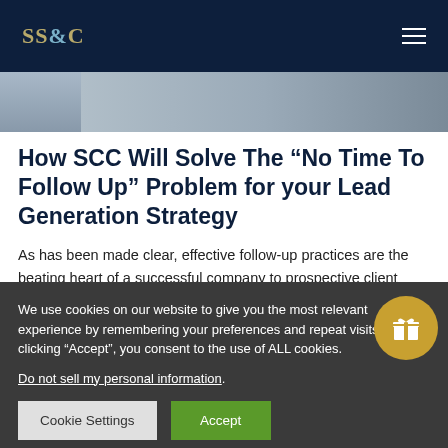SS&C
[Figure (photo): Partial image strip showing what appears to be an office or workspace scene]
How SCC Will Solve The “No Time To Follow Up” Problem for your Lead Generation Strategy
As has been made clear, effective follow-up practices are the beating heart of a successful company to prospective client relationships. However, because implementing these
We use cookies on our website to give you the most relevant experience by remembering your preferences and repeat visits. By clicking “Accept”, you consent to the use of ALL cookies.
Do not sell my personal information.
Cookie Settings
Accept